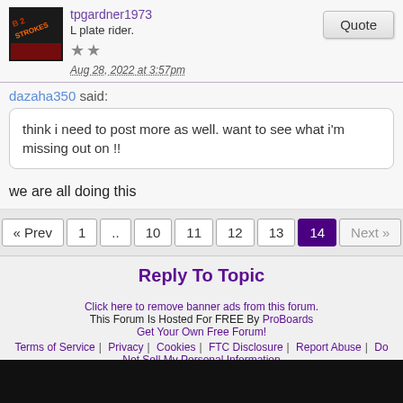tpgardner1973
L plate rider.
Aug 28, 2022 at 3:57pm
dazaha350 said:
think i need to post more as well. want to see what i'm missing out on !!
we are all doing this
« Prev  1  ..  10  11  12  13  14  Next »
Reply To Topic
Click here to remove banner ads from this forum. This Forum Is Hosted For FREE By ProBoards Get Your Own Free Forum! Terms of Service | Privacy | Cookies | FTC Disclosure | Report Abuse | Do Not Sell My Personal Information